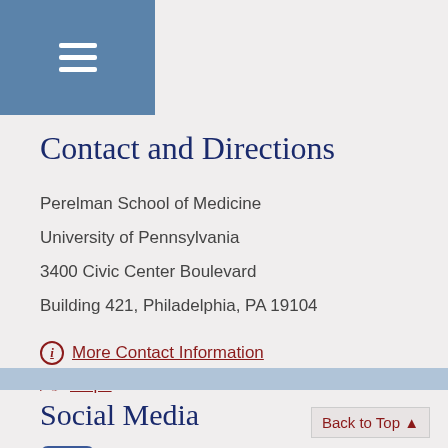[Figure (other): Blue hamburger menu icon with three horizontal white lines on a blue rectangle background]
Contact and Directions
Perelman School of Medicine
University of Pennsylvania
3400 Civic Center Boulevard
Building 421, Philadelphia, PA 19104
More Contact Information
Maps
Social Media
[Figure (logo): Facebook logo icon in blue square]
FOLLOW US ON FACEBOOK
Back to Top ▲